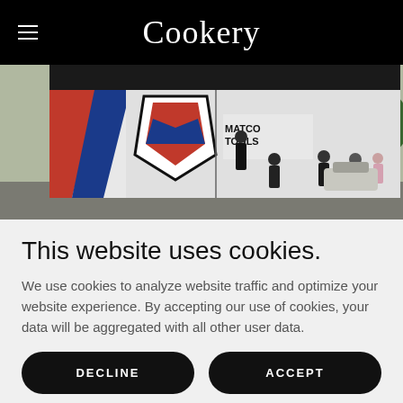Cookery
[Figure (photo): Photo of a Matco Tools branded truck/van with people standing around it outdoors, trees in background]
This website uses cookies.
We use cookies to analyze website traffic and optimize your website experience. By accepting our use of cookies, your data will be aggregated with all other user data.
DECLINE
ACCEPT